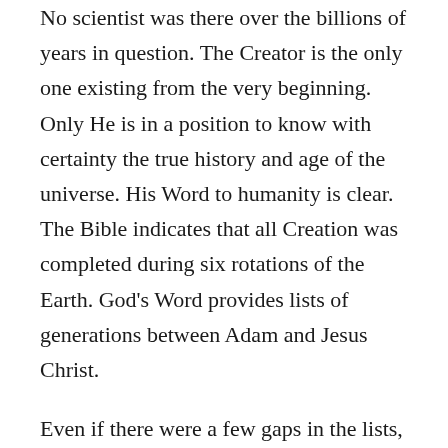No scientist was there over the billions of years in question. The Creator is the only one existing from the very beginning. Only He is in a position to know with certainty the true history and age of the universe. His Word to humanity is clear. The Bible indicates that all Creation was completed during six rotations of the Earth. God's Word provides lists of generations between Adam and Jesus Christ.
Even if there were a few gaps in the lists, it would be absurd to accept insertions of millions (or even tens of thousands) of years in the genealogy. Actually, the great majority of scientific age estimation methods indicate a young Earth. Dr. Ross's bias is apparent in his willingness to accept only those scientific